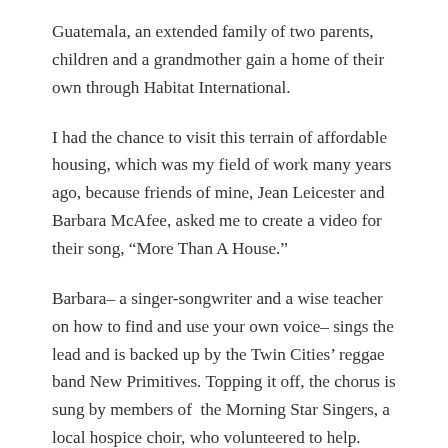Guatemala, an extended family of two parents, children and a grandmother gain a home of their own through Habitat International.
I had the chance to visit this terrain of affordable housing, which was my field of work many years ago, because friends of mine, Jean Leicester and Barbara McAfee, asked me to create a video for their song, “More Than A House.”
Barbara– a singer-songwriter and a wise teacher on how to find and use your own voice– sings the lead and is backed up by the Twin Cities’ reggae band New Primitives. Topping it off, the chorus is sung by members of the Morning Star Singers, a local hospice choir, who volunteered to help. Choir member Julie Bonde, who is a Habitat volunteer, generously offered photos and video from her building trip to Guatemala. Jean, also a long-time Habitat volunteer, gathered images from a project in her community that she helped build.